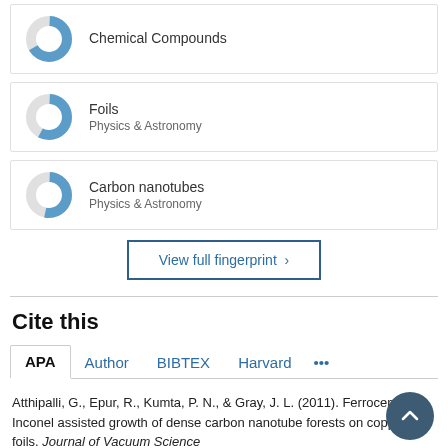[Figure (donut-chart): Donut chart icon for Chemical Compounds, partially filled in blue]
Chemical Compounds
[Figure (donut-chart): Donut chart icon for Foils, Physics & Astronomy, partially filled in blue]
Foils
Physics & Astronomy
[Figure (donut-chart): Donut chart icon for Carbon nanotubes, Physics & Astronomy, partially filled in blue]
Carbon nanotubes
Physics & Astronomy
View full fingerprint >
Cite this
APA  Author  BIBTEX  Harvard  ...
Atthipalli, G., Epur, R., Kumta, P. N., & Gray, J. L. (2011). Ferrocene and Inconel assisted growth of dense carbon nanotube forests on copper foils. Journal of Vacuum Science